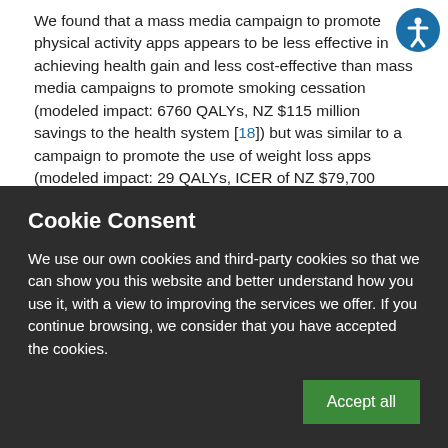We found that a mass media campaign to promote physical activity apps appears to be less effective in achieving health gain and less cost-effective than mass media campaigns to promote smoking cessation (modeled impact: 6760 QALYs, NZ $115 million savings to the health system [18]) but was similar to a campaign to promote the use of weight loss apps (modeled impact: 29 QALYs, ICER of NZ $79,700 [19]). This suggests that mass media campaigns to promote apps may have different impacts depending on the behavior targeted by apps.
Our results also indicate lower effectiveness and poorer cost-
Cookie Consent
We use our own cookies and third-party cookies so that we can show you this website and better understand how you use it, with a view to improving the services we offer. If you continue browsing, we consider that you have accepted the cookies.